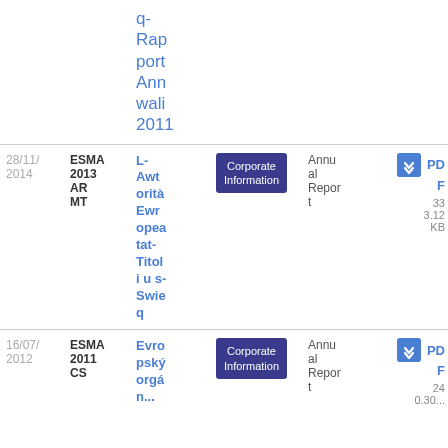| Date | Reference | Title | Category | Type | Download |
| --- | --- | --- | --- | --- | --- |
|  |  | q-Rapport Annwali 2011 | Corporate Information | Annual Report | PDF |
| 28/11/2014 | ESMA 2013 AR MT | L-Awtorità Ewropea tat-Titoli u s-Swieq | Corporate Information | Annual Report | PDF 33 3.12 KB |
| 16/07/2012 | ESMA 2011 CS | Evropský orgán... | Corporate Information | Annual Report | PDF 24 0.30... |